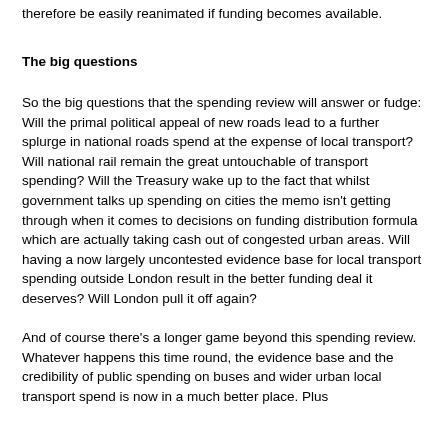therefore be easily reanimated if funding becomes available.
The big questions
So the big questions that the spending review will answer or fudge: Will the primal political appeal of new roads lead to a further splurge in national roads spend at the expense of local transport? Will national rail remain the great untouchable of transport spending? Will the Treasury wake up to the fact that whilst government talks up spending on cities the memo isn't getting through when it comes to decisions on funding distribution formula which are actually taking cash out of congested urban areas. Will having a now largely uncontested evidence base for local transport spending outside London result in the better funding deal it deserves? Will London pull it off again?
And of course there's a longer game beyond this spending review. Whatever happens this time round, the evidence base and the credibility of public spending on buses and wider urban local transport spend is now in a much better place. Plus